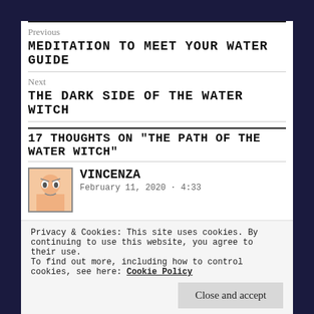Previous
MEDITATION TO MEET YOUR WATER GUIDE
Next
THE DARK SIDE OF THE WATER WITCH
17 THOUGHTS ON "THE PATH OF THE WATER WITCH"
VINCENZA
February 11, 2020 · 4:23
Privacy & Cookies: This site uses cookies. By continuing to use this website, you agree to their use.
To find out more, including how to control cookies, see here: Cookie Policy